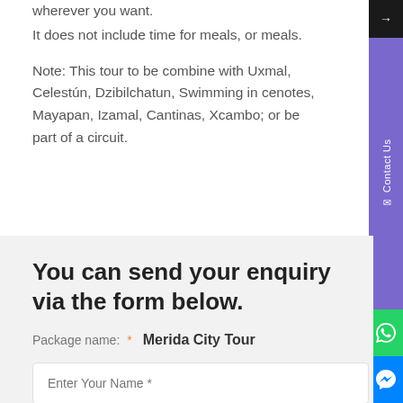wherever you want.
It does not include time for meals, or meals.
Note: This tour to be combine with Uxmal, Celestún, Dzibilchatun, Swimming in cenotes, Mayapan, Izamal, Cantinas, Xcambo; or be part of a circuit.
You can send your enquiry via the form below.
Package name: * Merida City Tour
Enter Your Name *